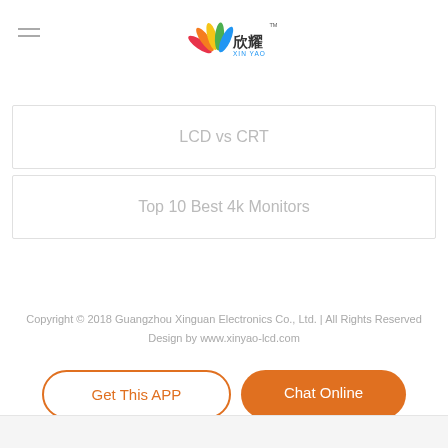XIN YAO logo
LCD vs CRT
Top 10 Best 4k Monitors
Copyright © 2018 Guangzhou Xinguan Electronics Co., Ltd. | All Rights Reserved
Design by www.xinyao-lcd.com
Get This APP
Chat Online